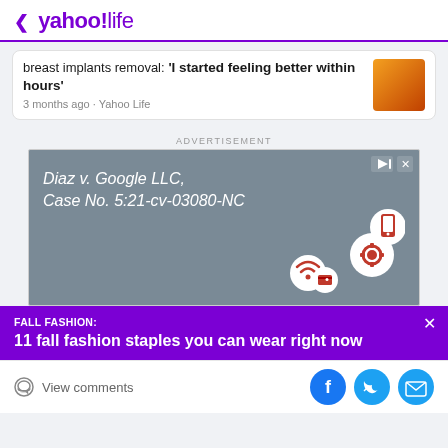< yahoo!life
breast implants removal: 'I started feeling better within hours'
3 months ago · Yahoo Life
ADVERTISEMENT
[Figure (screenshot): Advertisement banner: Diaz v. Google LLC, Case No. 5:21-cv-03080-NC with technology icons (wifi, settings, phone, wallet) on grey background]
FALL FASHION:
11 fall fashion staples you can wear right now
View comments